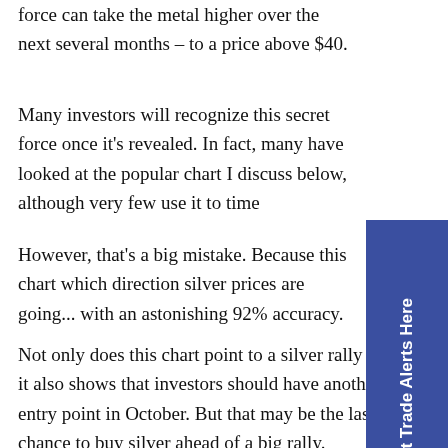force can take the metal higher over the next several months – to a price above $40.
Many investors will recognize this secret force once it's revealed. In fact, many have looked at the popular chart I discuss below, although very few use it to time
However, that's a big mistake. Because this chart which direction silver prices are going... with an astonishing 92% accuracy.
Not only does this chart point to a silver rally to May, it also shows that investors should have another great entry point in October. But that may be the last chance to buy silver ahead of a big rally.
[Figure (other): Blue sidebar button with rotated text 'Get Trade Alerts Here']